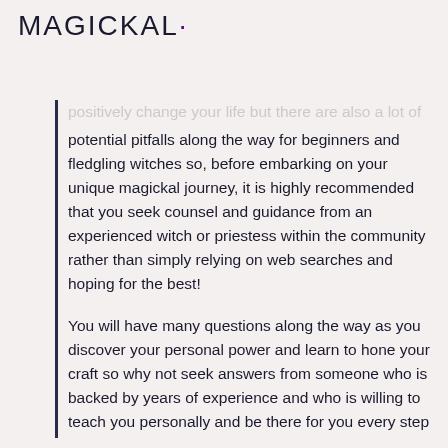MAGICKAL·
positively change your life but there are also a lot of potential pitfalls along the way for beginners and fledgling witches so, before embarking on your unique magickal journey, it is highly recommended that you seek counsel and guidance from an experienced witch or priestess within the community rather than simply relying on web searches and hoping for the best!
You will have many questions along the way as you discover your personal power and learn to hone your craft so why not seek answers from someone who is backed by years of experience and who is willing to teach you personally and be there for you every step of the way?